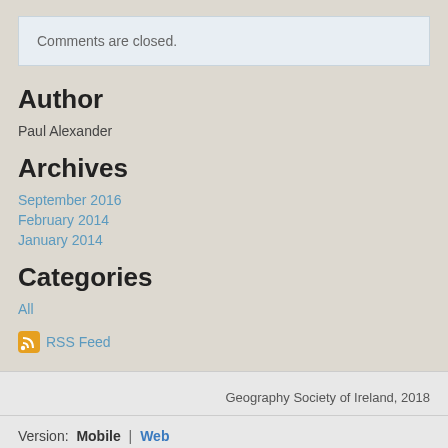Comments are closed.
Author
Paul Alexander
Archives
September 2016
February 2014
January 2014
Categories
All
RSS Feed
Geography Society of Ireland, 2018
Version: Mobile | Web